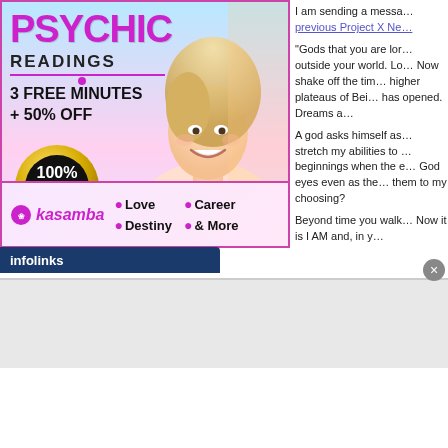[Figure (illustration): Kasamba psychic readings advertisement banner. Shows 'PSYCHIC READINGS' in large text, '3 FREE MINUTES + 50% OFF', '100% SATISFACTION' gold badge, 'CHAT LIVE' button, Kasamba logo with Love, Destiny, Career & More services. Background shows smiling blonde woman.]
I am sending a messa... previous Project X Ne...
"Gods that you are lor... outside your world. Lo... Now shake off the tim... higher plateaus of Bei... has opened. Dreams a...
A god asks himself as... stretch my abilities to... beginnings when the e... God eyes even as the... them to my choosing?
Beyond time you walk... Now it is I AM and, in y...
[Figure (screenshot): Infolinks ad bar at bottom with dark blue background, white 'infolinks' text, and a circular close button with X on the right side.]